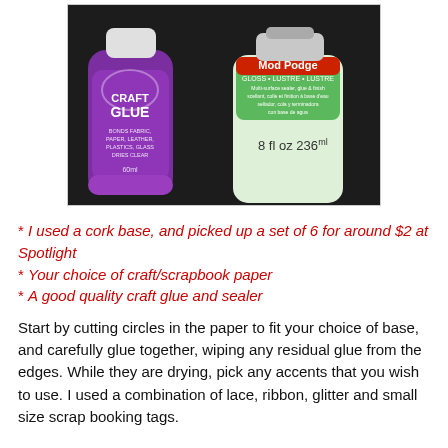[Figure (photo): Photo of two craft glue products on a dark background: a purple 'Craft Glue' bottle (60ml) on the left and a green/white Mod Podge gloss bottle (8 fl oz 236ml) on the right.]
* I used a cork base, and picked up a set of 6 for around $2 at Spotlight
* Your choice of craft/scrapbook paper
* A good quality craft glue and sealer
Start by cutting circles in the paper to fit your choice of base, and carefully glue together, wiping any residual glue from the edges. While they are drying, pick any accents that you wish to use. I used a combination of lace, ribbon, glitter and small size scrap booking tags.